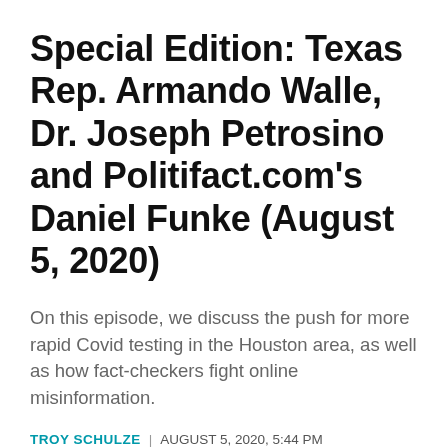Special Edition: Texas Rep. Armando Walle, Dr. Joseph Petrosino and Politifact.com's Daniel Funke (August 5, 2020)
On this episode, we discuss the push for more rapid Covid testing in the Houston area, as well as how fact-checkers fight online misinformation.
TROY SCHULZE | AUGUST 5, 2020, 5:44 PM